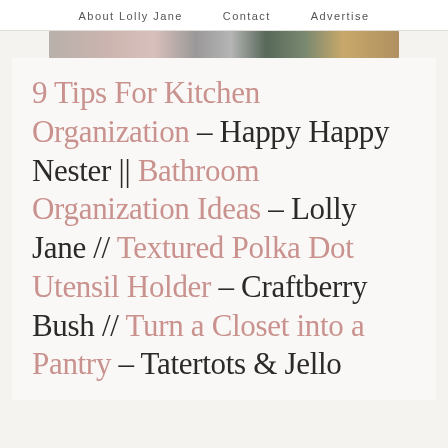About Lolly Jane   Contact   Advertise
[Figure (photo): Horizontal strip of food/lifestyle photos]
9 Tips For Kitchen Organization – Happy Happy Nester || Bathroom Organization Ideas – Lolly Jane // Textured Polka Dot Utensil Holder – Craftberry Bush // Turn a Closet into a Pantry – Tatertots & Jello